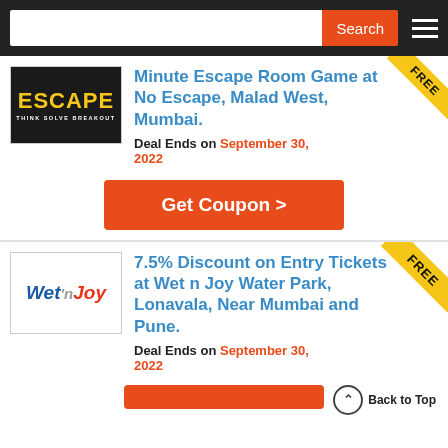Search
[Figure (logo): No Escape Room logo - yellow ESCAPE text on dark background]
Minute Escape Room Game at No Escape, Malad West, Mumbai.
Deal Ends on September 30, 2022
Get Coupon >
[Figure (logo): Wet n Joy water park logo]
7.5% Discount on Entry Tickets at Wet n Joy Water Park, Lonavala, Near Mumbai and Pune.
Deal Ends on September 30, 2022